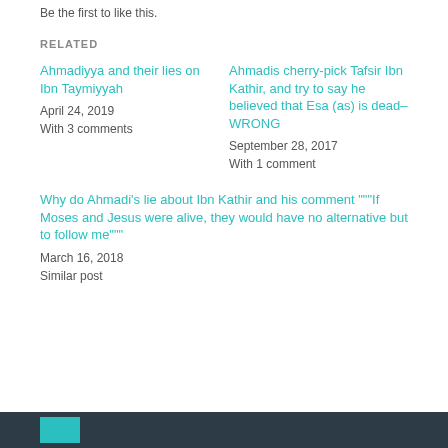Be the first to like this.
RELATED
Ahmadiyya and their lies on Ibn Taymiyyah
April 24, 2019
With 3 comments
Ahmadis cherry-pick Tafsir Ibn Kathir, and try to say he believed that Esa (as) is dead–WRONG
September 28, 2017
With 1 comment
Why do Ahmadi's lie about Ibn Kathir and his comment """If Moses and Jesus were alive, they would have no alternative but to follow me"""
March 16, 2018
Similar post